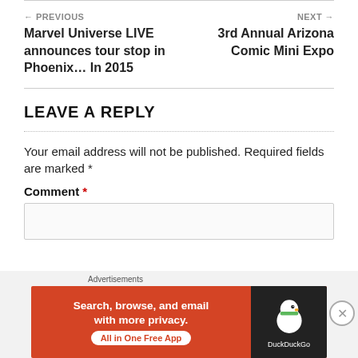← PREVIOUS
Marvel Universe LIVE announces tour stop in Phoenix… In 2015
NEXT →
3rd Annual Arizona Comic Mini Expo
LEAVE A REPLY
Your email address will not be published. Required fields are marked *
Comment *
[Figure (screenshot): DuckDuckGo advertisement banner: orange background with text 'Search, browse, and email with more privacy. All in One Free App' and DuckDuckGo logo on dark background]